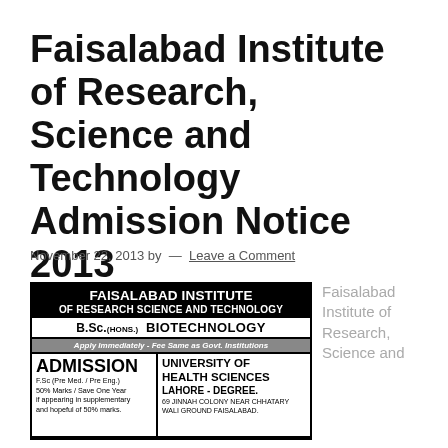Faisalabad Institute of Research, Science and Technology Admission Notice 2013
November 22, 2013 by — Leave a Comment
[Figure (infographic): Advertisement for Faisalabad Institute of Research Science and Technology offering B.Sc.(Hons.) Biotechnology, admission open, F.Sc (Pre Med. / Pre Eng.) 50% Marks / Save One Year if appearing in supplementary and hopeful of 50% marks. University of Health Sciences Lahore - Degree. 69 Jinnah Colony Near Chhatary Wali Ground Faisalabad. Contact # 041-2640161, 0332-8663843, 0300-6648746]
Faisalabad Institute of Research, Science and